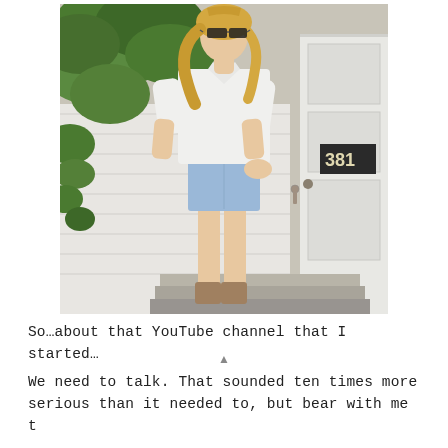[Figure (photo): A blonde woman wearing sunglasses, a white button-down shirt with sleeves rolled up, and light blue denim cutoff shorts with frayed hems. She is standing in front of a white wooden door with the number 381 and lush green plants to the left. She is posing outdoors on steps.]
So…about that YouTube channel that I started…
We need to talk. That sounded ten times more serious than it needed to, but bear with me t...